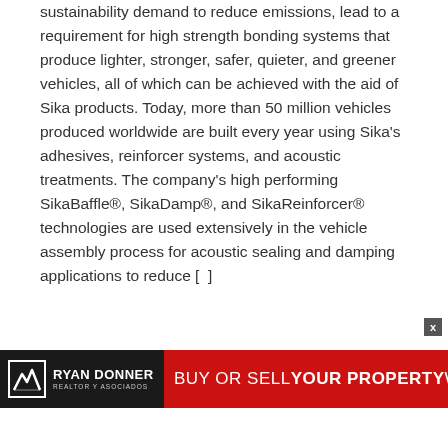sustainability demand to reduce emissions, lead to a requirement for high strength bonding systems that produce lighter, stronger, safer, quieter, and greener vehicles, all of which can be achieved with the aid of Sika products. Today, more than 50 million vehicles produced worldwide are built every year using Sika's adhesives, reinforcer systems, and acoustic treatments. The company's high performing SikaBaffle®, SikaDamp®, and SikaReinforcer® technologies are used extensively in the vehicle assembly process for acoustic sealing and damping applications to reduce [...]
[Figure (other): Advertisement banner for Ryan Donner Realtor y Asociados: black section with logo and name on the left, red section on the right reading BUY OR SELL YOUR PROPERTY WITH US]